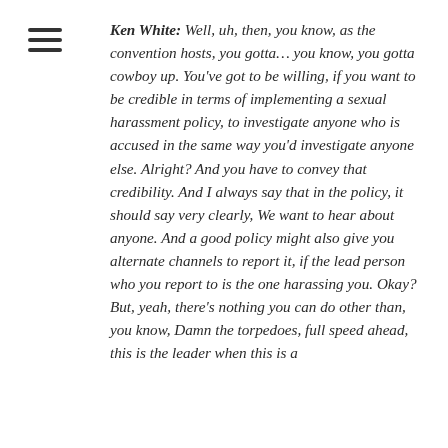[Figure (other): Hamburger menu icon (three horizontal lines) in the top-left corner]
Ken White: Well, uh, then, you know, as the convention hosts, you gotta… you know, you gotta cowboy up. You've got to be willing, if you want to be credible in terms of implementing a sexual harassment policy, to investigate anyone who is accused in the same way you'd investigate anyone else. Alright? And you have to convey that credibility. And I always say that in the policy, it should say very clearly, We want to hear about anyone. And a good policy might also give you alternate channels to report it, if the lead person who you report to is the one harassing you. Okay? But, yeah, there's nothing you can do other than, you know, Damn the torpedoes, full speed ahead, this is the leader when this is a